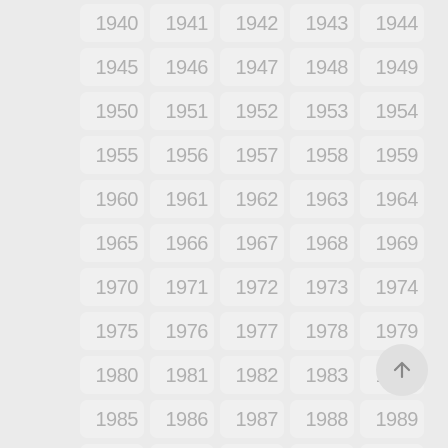[Figure (other): Grid of year buttons from 1940 to 1994 arranged in 5 columns and 11 rows, displayed as rounded rectangle tiles with light gray text on slightly lighter gray background. A circular up-arrow FAB button appears at bottom right.]